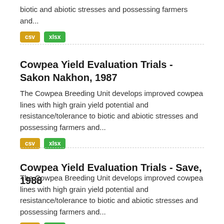biotic and abiotic stresses and possessing farmers and...
csv xlsx
Cowpea Yield Evaluation Trials - Sakon Nakhon, 1987
The Cowpea Breeding Unit develops improved cowpea lines with high grain yield potential and resistance/tolerance to biotic and abiotic stresses and possessing farmers and...
csv xlsx
Cowpea Yield Evaluation Trials - Save, 1988
The Cowpea Breeding Unit develops improved cowpea lines with high grain yield potential and resistance/tolerance to biotic and abiotic stresses and possessing farmers and...
csv xlsx
Cowpea Yield Evaluation Trials - Rivers, 1990